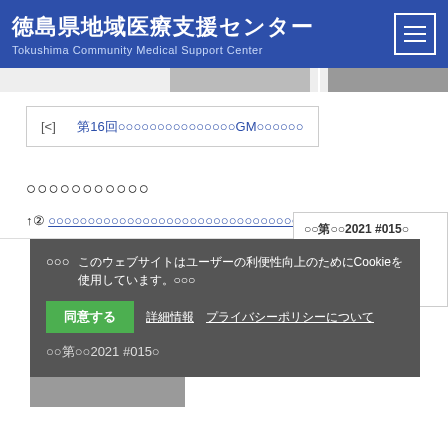徳島県地域医療支援センター Tokushima Community Medical Support Center
[Figure (photo): Image strip showing partial photos]
[<] 第16回○○○○○○○○○○○○GM○○○○○○
○○○○○○○○○○○
↑② ○○○○○○○○○○○○○○○○○○○○○○○○○○○○○○○○○○○○
○○○ このウェブサイトはユーザーの利便性向上のためにCookieを使用しています。 ○○○
同意する　詳細情報　プライバシーポリシーについて
○○第○○2021 #015○